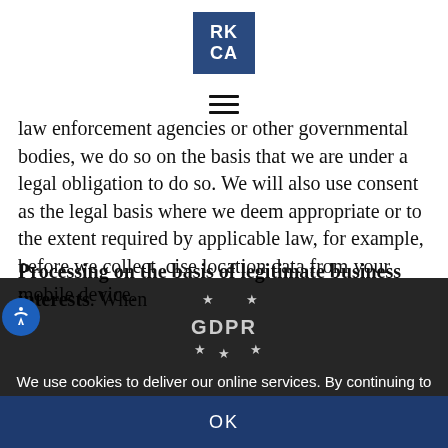[Figure (logo): RKCA logo — dark blue square with white text RK over CA]
[Figure (other): Hamburger menu icon (three horizontal lines)]
law enforcement agencies or other governmental bodies, we do so on the basis that we are under a legal obligation to do so. We will also use consent as the legal basis where we deem appropriate or to the extent required by applicable law, for example, before we collect precise location data from your mobile device.
Processing on the basis of legitimate business interests. When
[Figure (logo): GDPR badge — stars surrounding GDPR text on dark background]
We use cookies to deliver our online services. By continuing to use this website you agree to our use of our cookies unless you have disabled them.
OK